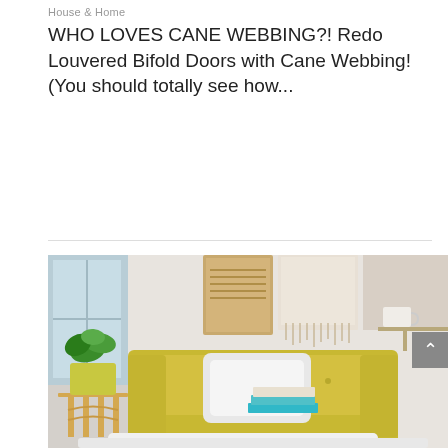House & Home
WHO LOVES CANE WEBBING?! Redo Louvered Bifold Doors with Cane Webbing! (You should totally see how...
Read More
[Figure (photo): A cozy living room scene featuring a yellow velvet tufted loveseat with a white fluffy pillow, a potted green plant on a rattan side table, macrame and textile wall hangings, stacked books, and a white fluffy rug on the floor.]